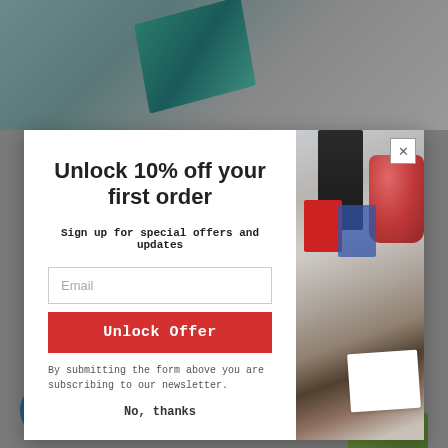[Figure (screenshot): Website screenshot showing a popup modal with email signup offer over a grey background with product imagery]
Unlock 10% off your first order
Sign up for special offers and updates
Email
Unlock Offer
By submitting the form above you are subscribing to our newsletter.
No, thanks